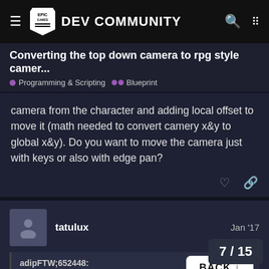Epic Games DEV COMMUNITY
Converting the top down camera to rpg style camer...
• Programming & Scripting  •• Blueprint
camera from the character and adding local offset to move it (math needed to convert camery x&y to global x&y). Do you want to move the camera just with keys or also with edge pan?
tatulux  Jan '17
adipFTW;652448:
The most simple way I can think
the camera from the character a
BACK ↓
7 / 15